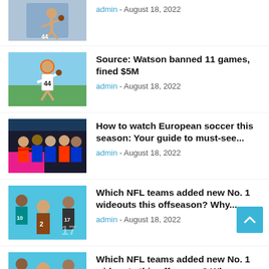[Figure (photo): Partial article thumbnail - football player throwing]
admin - August 18, 2022
[Figure (photo): Football player in white jersey number 4 throwing a pass]
Source: Watson banned 11 games, fined $5M
admin - August 18, 2022
[Figure (photo): Soccer players in a huddle on the field]
How to watch European soccer this season: Your guide to must-see...
admin - August 18, 2022
[Figure (photo): NFL players including wide receivers from multiple teams]
Which NFL teams added new No. 1 wideouts this offseason? Why...
admin - August 18, 2022
[Figure (photo): NFL players wide receivers collage - partial view]
Which NFL teams added new No. 1 wideouts this offseason? Why...